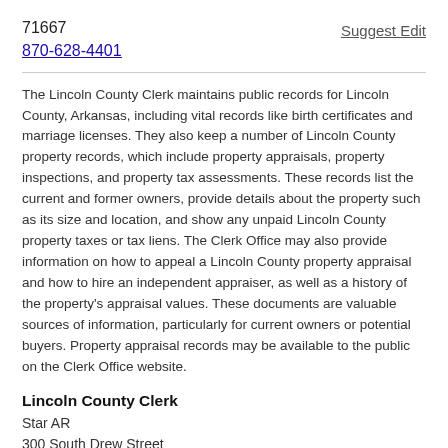71667
870-628-4401
Suggest Edit
The Lincoln County Clerk maintains public records for Lincoln County, Arkansas, including vital records like birth certificates and marriage licenses. They also keep a number of Lincoln County property records, which include property appraisals, property inspections, and property tax assessments. These records list the current and former owners, provide details about the property such as its size and location, and show any unpaid Lincoln County property taxes or tax liens. The Clerk Office may also provide information on how to appeal a Lincoln County property appraisal and how to hire an independent appraiser, as well as a history of the property's appraisal values. These documents are valuable sources of information, particularly for current owners or potential buyers. Property appraisal records may be available to the public on the Clerk Office website.
Lincoln County Clerk
Star AR
300 South Drew Street